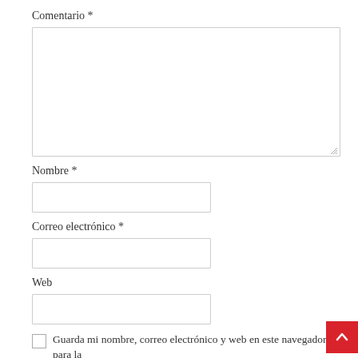Comentario *
[Figure (other): Large textarea input field for comment entry, with resize handle at bottom-right corner]
Nombre *
[Figure (other): Single-line text input field for name]
Correo electrónico *
[Figure (other): Single-line text input field for email]
Web
[Figure (other): Single-line text input field for website URL]
Guarda mi nombre, correo electrónico y web en este navegador para la próxima vez que comente.